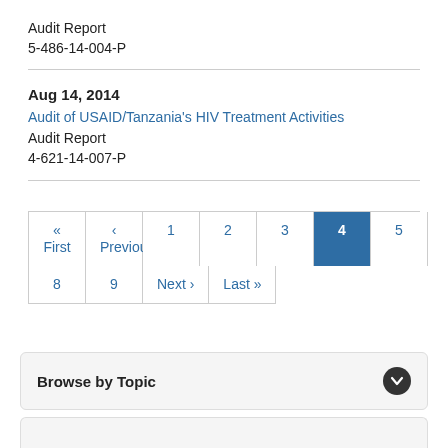Audit Report
5-486-14-004-P
Aug 14, 2014
Audit of USAID/Tanzania's HIV Treatment Activities
Audit Report
4-621-14-007-P
Pagination: « First ‹ Previous 1 2 3 4 (active) 5 6 7 8 9 Next › Last »
Browse by Topic